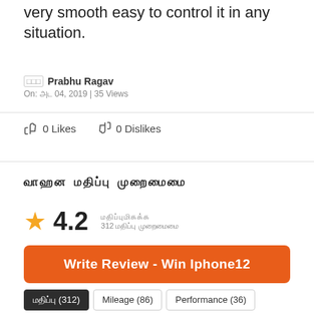very smooth easy to control it in any situation.
Prabhu Ragav
On: 04, 2019 | 35 Views
0 Likes   0 Dislikes
Write Review - Win Iphone12
4.2
312 reviews
Write Review - Win Iphone12
(312)
Mileage (86)
Performance (36)